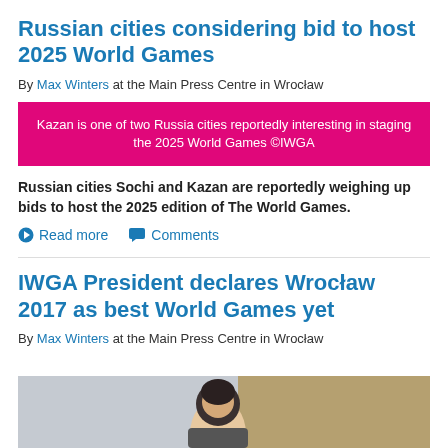Russian cities considering bid to host 2025 World Games
By Max Winters at the Main Press Centre in Wrocław
Kazan is one of two Russia cities reportedly interesting in staging the 2025 World Games ©IWGA
Russian cities Sochi and Kazan are reportedly weighing up bids to host the 2025 edition of The World Games.
Read more   Comments
IWGA President declares Wrocław 2017 as best World Games yet
By Max Winters at the Main Press Centre in Wrocław
[Figure (photo): Photo of a person at the Main Press Centre, partially visible at bottom of page]